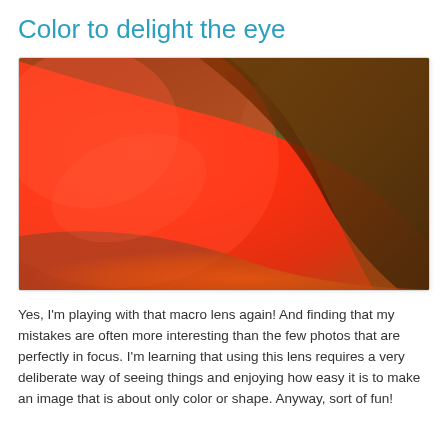Color to delight the eye
[Figure (photo): Close-up macro photograph of a flower petal. The left portion is a vivid red/orange petal curving from lower-left to upper-right. The right background is a dark olive-green. The petal is slightly out of focus, emphasizing color and shape over sharp detail.]
Yes, I'm playing with that macro lens again! And finding that my mistakes are often more interesting than the few photos that are perfectly in focus. I'm learning that using this lens requires a very deliberate way of seeing things and enjoying how easy it is to make an image that is about only color or shape. Anyway, sort of fun!